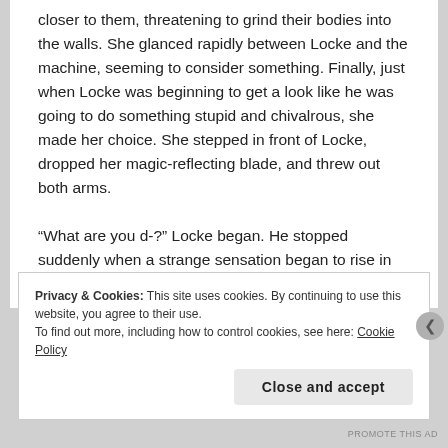closer to them, threatening to grind their bodies into the walls. She glanced rapidly between Locke and the machine, seeming to consider something. Finally, just when Locke was beginning to get a look like he was going to do something stupid and chivalrous, she made her choice. She stepped in front of Locke, dropped her magic-reflecting blade, and threw out both arms.
“What are you d-?” Locke began. He stopped suddenly when a strange sensation began to rise in the air around him.
Privacy & Cookies: This site uses cookies. By continuing to use this website, you agree to their use.
To find out more, including how to control cookies, see here: Cookie Policy